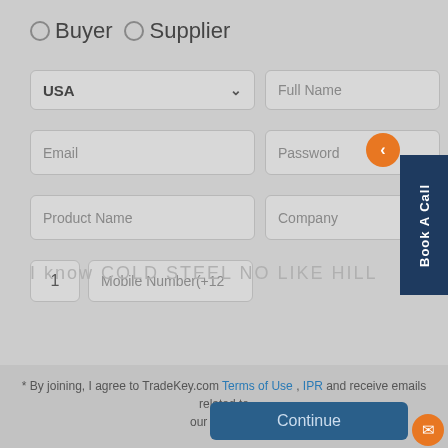○ Buyer  ○ Supplier
USA (dropdown)
Full Name
Email
Password
Product Name
Company
1   Mobile Number(+12
Book A Call
* By joining, I agree to TradeKey.com Terms of Use , IPR and receive emails related to our services.
Continue